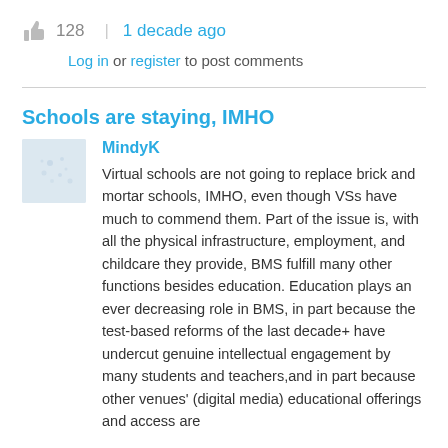128 | 1 decade ago
Log in or register to post comments
Schools are staying, IMHO
MindyK
Virtual schools are not going to replace brick and mortar schools, IMHO, even though VSs have much to commend them.  Part of the issue is, with all the physical infrastructure, employment, and childcare they provide, BMS fulfill many other functions besides education.  Education plays an ever decreasing role in BMS, in part because the test-based reforms of the last decade+ have undercut genuine intellectual engagement by many students and teachers,and in part because other venues' (digital media) educational offerings and access are